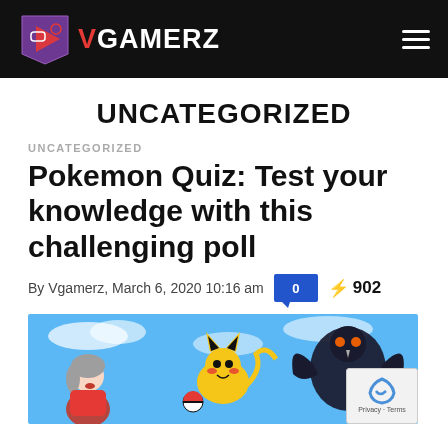VGAMERZ
UNCATEGORIZED
UNCATEGORIZED
Pokemon Quiz: Test your knowledge with this challenging poll
By Vgamerz, March 6, 2020 10:16 am   0   902
[Figure (photo): Pokemon characters including a trainer girl, Pikachu, and a dark bird Pokemon on a blue sky background]